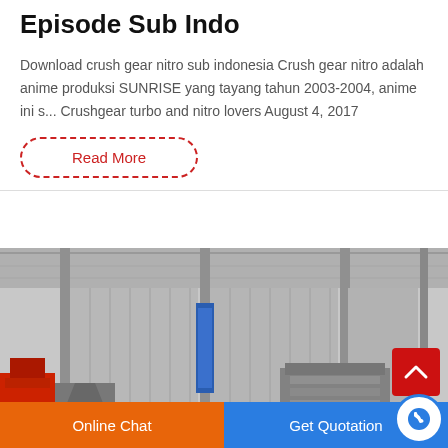Episode Sub Indo
Download crush gear nitro sub indonesia Crush gear nitro adalah anime produksi SUNRISE yang tayang tahun 2003-2004, anime ini s... Crushgear turbo and nitro lovers August 4, 2017
Read More
[Figure (photo): Industrial factory interior with heavy machinery including crushers and equipment, grey metal structures and blue signage visible]
Online Chat
Get Quotation